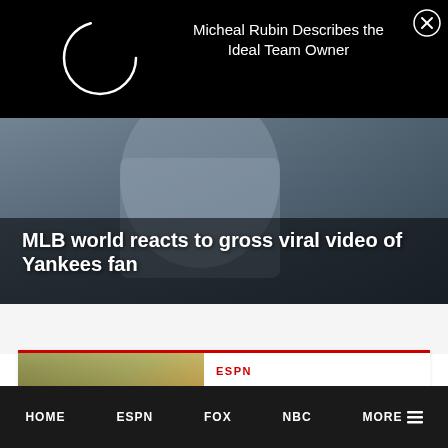[Figure (screenshot): Black overlay bar with loading spinner circle and close button (X)]
Micheal Rubin Describes the Ideal Team Owner
[Figure (photo): Hero image of Yankees fan at stadium holding a beer cup, with crowd in background]
MLB world reacts to gross viral video of Yankees fan
[Figure (photo): ESPN college football analysts at an outdoor desk on a stadium field with crowd in background]
ESPN
ESPN college football analysts lament network's severed Big Ten relationship
HOME   ESPN   FOX   NBC   MORE